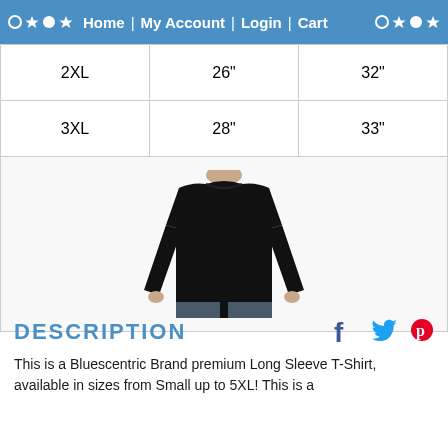○ ★ ● ★  Home | My Account | Login | Cart  ○ ★ ● ★
| 2XL | 26" | 32" |
| 3XL | 28" | 33" |
[Figure (photo): Man wearing a black long-sleeve t-shirt with jeans, shown from neck to upper thighs against a white background]
DESCRIPTION
This is a Bluescentric Brand premium Long Sleeve T-Shirt, available in sizes from Small up to 5XL! This is a